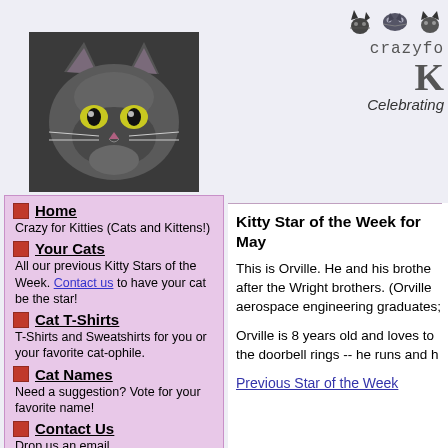[Figure (photo): Gray cat photo at top of left column]
[Figure (logo): Crazy for Kitties logo with cat icons and site name, Celebrating tagline]
Home - Crazy for Kitties (Cats and Kittens!)
Your Cats - All our previous Kitty Stars of the Week. Contact us to have your cat be the star!
Cat T-Shirts - T-Shirts and Sweatshirts for you or your favorite cat-ophile.
Cat Names - Need a suggestion? Vote for your favorite name!
Contact Us - Drop us an email
Crazy Cat Stories
Kitty Star of the Week for May
This is Orville. He and his brothe after the Wright brothers. (Orville aerospace engineering graduates;
Orville is 8 years old and loves to the doorbell rings -- he runs and h
Previous Star of the Week